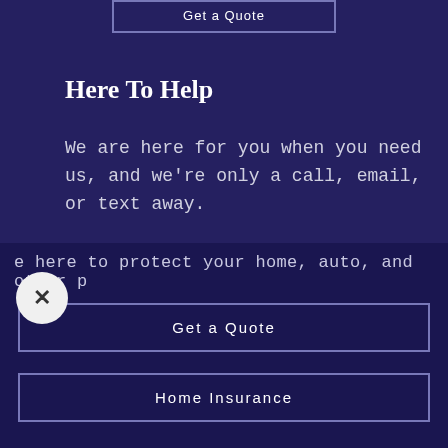Get a Quote
Here To Help
We are here for you when you need us, and we're only a call, email, or text away.
Contact Us
e here to protect your home, auto, and other p
Get a Quote
Home Insurance